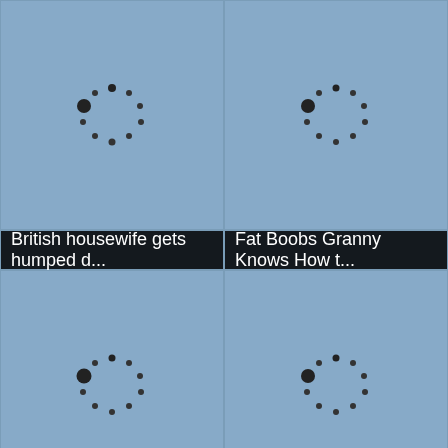[Figure (screenshot): Loading spinner (dots in circle) in top-left video thumbnail cell]
[Figure (screenshot): Loading spinner (dots in circle) in top-right video thumbnail cell]
British housewife gets humped d...
Fat Boobs Granny Knows How t...
[Figure (screenshot): Loading spinner (dots in circle) in middle-left video thumbnail cell]
[Figure (screenshot): Loading spinner (dots in circle) in middle-right video thumbnail cell]
Scorching looking granny szuzan...
Mother with mature vagina bud ...
[Figure (other): UP button (scroll to top) in bottom-right corner]